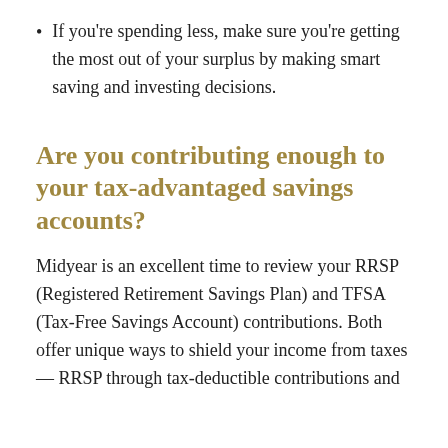If you're spending less, make sure you're getting the most out of your surplus by making smart saving and investing decisions.
Are you contributing enough to your tax-advantaged savings accounts?
Midyear is an excellent time to review your RRSP (Registered Retirement Savings Plan) and TFSA (Tax-Free Savings Account) contributions. Both offer unique ways to shield your income from taxes — RRSP through tax-deductible contributions and